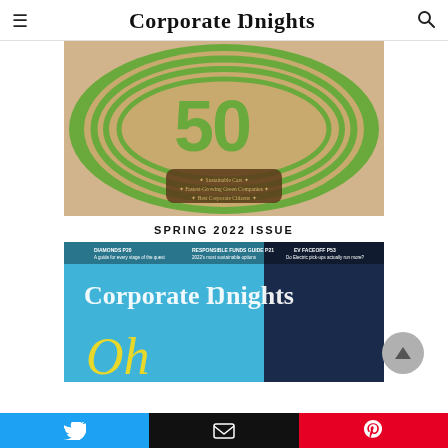Corporate Knights
[Figure (photo): Magazine cover showing the number '50' styled as a green hedge maze on a sandy circular background, with text reading 'Sustainable Cars, Fastest-Growing Green Companies, Best Corporate Citizens']
SPRING 2022 ISSUE
[Figure (photo): Partial view of a Corporate Knights magazine cover with a cyan/blue design showing the beginning of the word 'Oh' in yellow script, with top banner text including 'EV FACEOFF P53 Do Electric pick-ups actually run more?']